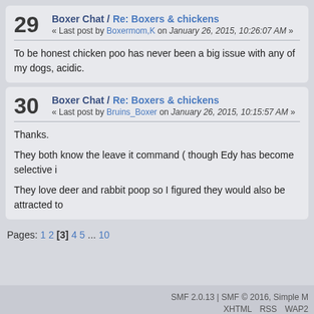29 Boxer Chat / Re: Boxers & chickens « Last post by Boxermom,K on January 26, 2015, 10:26:07 AM »
To be honest chicken poo has never been a big issue with any of my dogs, acidic.
30 Boxer Chat / Re: Boxers & chickens « Last post by Bruins_Boxer on January 26, 2015, 10:15:57 AM »
Thanks.

They both know the leave it command ( though Edy has become selective i

They love deer and rabbit poop so I figured they would also be attracted to
Pages: 1 2 [3] 4 5 ... 10
SMF 2.0.13 | SMF © 2016, Simple M    XHTML  RSS  WAP2